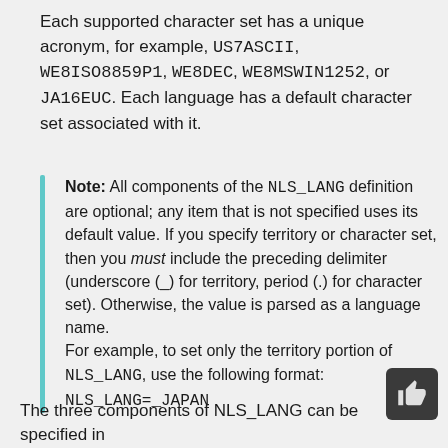Each supported character set has a unique acronym, for example, US7ASCII, WE8ISO8859P1, WE8DEC, WE8MSWIN1252, or JA16EUC. Each language has a default character set associated with it.
Note: All components of the NLS_LANG definition are optional; any item that is not specified uses its default value. If you specify territory or character set, then you must include the preceding delimiter (underscore (_) for territory, period (.) for character set). Otherwise, the value is parsed as a language name. For example, to set only the territory portion of NLS_LANG, use the following format: NLS_LANG=_JAPAN
The three components of NLS_LANG can be specified in